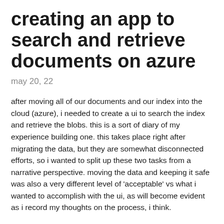creating an app to search and retrieve documents on azure
may 20, 22
after moving all of our documents and our index into the cloud (azure), i needed to create a ui to search the index and retrieve the blobs. this is a sort of diary of my experience building one. this takes place right after migrating the data, but they are somewhat disconnected efforts, so i wanted to split up these two tasks from a narrative perspective. moving the data and keeping it safe was also a very different level of 'acceptable' vs what i wanted to accomplish with the ui, as will become evident as i record my thoughts on the process, i think.